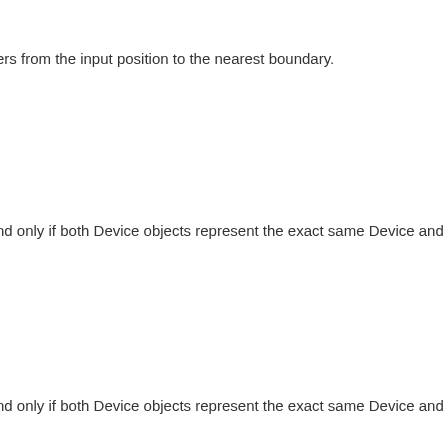ers from the input position to the nearest boundary.
nd only if both Device objects represent the exact same Device and
.
nd only if both Device objects represent the exact same Device and